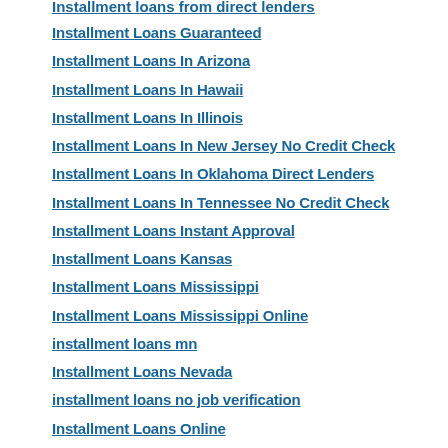Installment loans from direct lenders
Installment Loans Guaranteed
Installment Loans In Arizona
Installment Loans In Hawaii
Installment Loans In Illinois
Installment Loans In New Jersey No Credit Check
Installment Loans In Oklahoma Direct Lenders
Installment Loans In Tennessee No Credit Check
Installment Loans Instant Approval
Installment Loans Kansas
Installment Loans Mississippi
Installment Loans Mississippi Online
installment loans mn
Installment Loans Nevada
installment loans no job verification
Installment Loans Online
Installment Loans Online Colorado
Installment Loans Online Connecticut No Credit Check
Installment Loans Online Direct Lenders